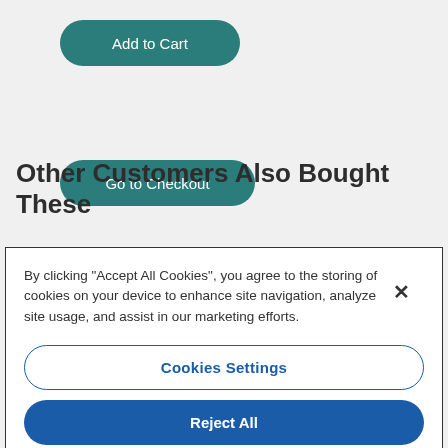[Figure (screenshot): Teal 'Add to Cart' rounded button on grey background]
[Figure (screenshot): Teal 'Go to Checkout' rounded button on grey background]
Other Customers Also Bought These
[Figure (screenshot): White product card partially visible with a small golden product icon]
By clicking “Accept All Cookies”, you agree to the storing of cookies on your device to enhance site navigation, analyze site usage, and assist in our marketing efforts.
[Figure (screenshot): Cookies Settings outlined blue button]
[Figure (screenshot): Reject All filled blue button]